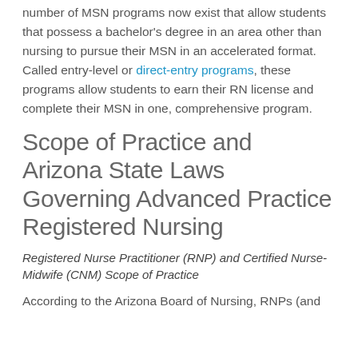number of MSN programs now exist that allow students that possess a bachelor's degree in an area other than nursing to pursue their MSN in an accelerated format. Called entry-level or direct-entry programs, these programs allow students to earn their RN license and complete their MSN in one, comprehensive program.
Scope of Practice and Arizona State Laws Governing Advanced Practice Registered Nursing
Registered Nurse Practitioner (RNP) and Certified Nurse-Midwife (CNM) Scope of Practice
According to the Arizona Board of Nursing, RNPs (and